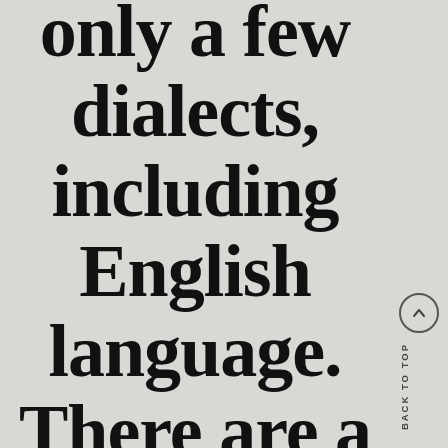only a few dialects, including English language. There are a lot of
[Figure (other): Back to top navigation button with upward chevron icon and vertical 'BACK TO TOP' label text on the right sidebar]